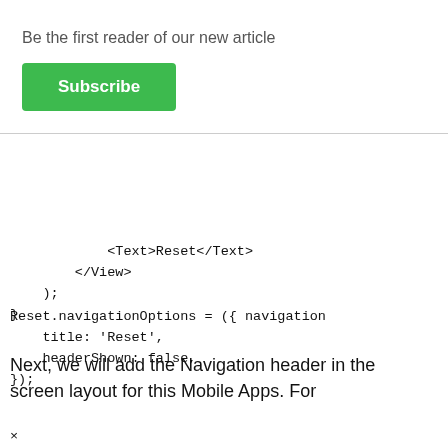Be the first reader of our new article
Subscribe
<Text>Reset</Text>
        </View>
    );
}
Reset.navigationOptions = ({ navigation
    title: 'Reset',
    headerShown: false,
});
Next, we will add the Navigation header in the screen layout for this Mobile Apps. For
×